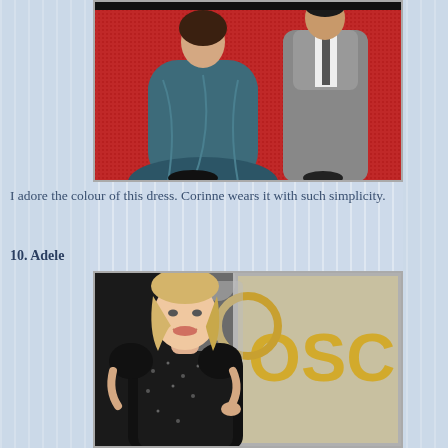[Figure (photo): A woman in a teal/dark blue flowing gown standing on a red carpet next to a man in a gray suit, at what appears to be an awards event.]
I adore the colour of this dress. Corinne wears it with such simplicity.
10. Adele
[Figure (photo): Adele wearing a black embellished/sequined dress at the Oscars, standing in front of the Oscar backdrop sign, with blonde wavy hair.]